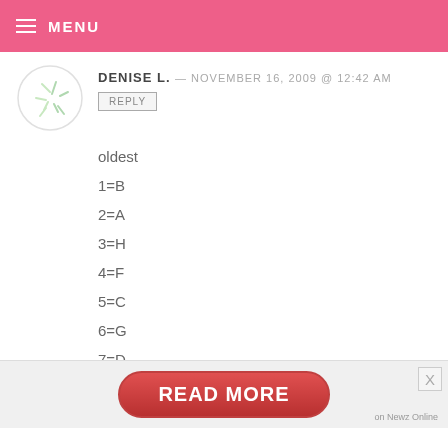MENU
DENISE L. — NOVEMBER 16, 2009 @ 12:42 AM
REPLY
oldest
1=B
2=A
3=H
4=F
5=C
6=G
7=D
8=E
newest
READ MORE